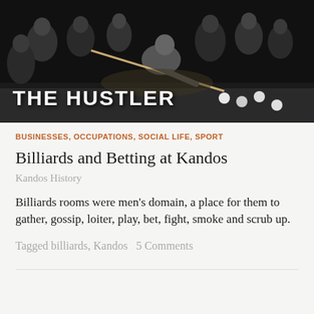[Figure (photo): Black and white photo of men around a billiards/pool table, one man leaning over to take a shot with a cue stick. Text overlay reads THE HUSTLER in bold white uppercase letters.]
BUSINESSES, OCCUPATIONS, SOCIAL LIFE, SPORT
Billiards and Betting at Kandos
Kandos History
Billiards rooms were men's domain, a place for them to gather, gossip, loiter, play, bet, fight, smoke and scrub up.
Tagged billiards, Kandos   5 Comments